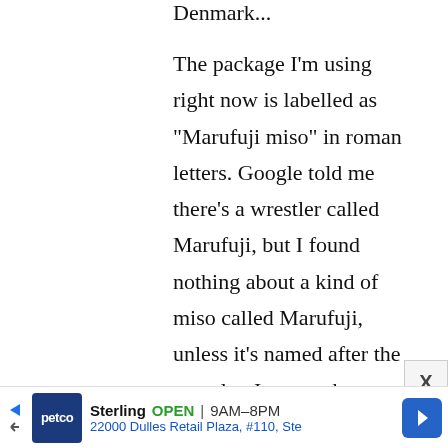Denmark...
The package I'm using right now is labelled as "Marufuji miso" in roman letters. Google told me there's a wrestler called Marufuji, but I found nothing about a kind of miso called Marufuji, unless it's named after the wrestler, I guess. :b